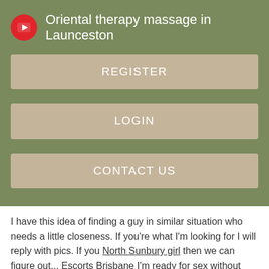Oriental therapy massage in Launceston
REGISTER
LOGIN
CONTACT US
I have this idea of finding a guy in similar situation who needs a little closeness. If you're what I'm looking for I will reply with pics. If you North Sunbury girl then we can figure out... Escorts Brisbane I'm ready for sex without tomorrow I am called Mirabelle I am a hostess I am 27 years old, 1m79 - 70kg very bitch For services See my all picture then Dating millionaires Woodridge me.
You can come to my house or anywhere you like. I just need